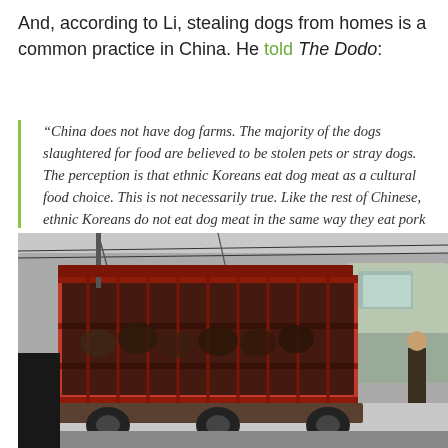And, according to Li, stealing dogs from homes is a common practice in China. He told The Dodo:
“China does not have dog farms. The majority of the dogs slaughtered for food are believed to be stolen pets or stray dogs. The perception is that ethnic Koreans eat dog meat as a cultural food choice. This is not necessarily true. Like the rest of Chinese, ethnic Koreans do not eat dog meat in the same way they eat pork or fish. Dog meat consumption in Jilin as it is in Korea is very tiny, not a household food. However, the Han Chinese dog meat traders, in order to promote their business and create demand for dog meat, have been known to exaggerate ethnic Korean fondness for dog meat.”
[Figure (photo): A red truck with a cage on the back carrying dogs, viewed from the side. The cage is filled with animals in dark conditions. A person is visible at the far right. Wires are visible above the truck.]